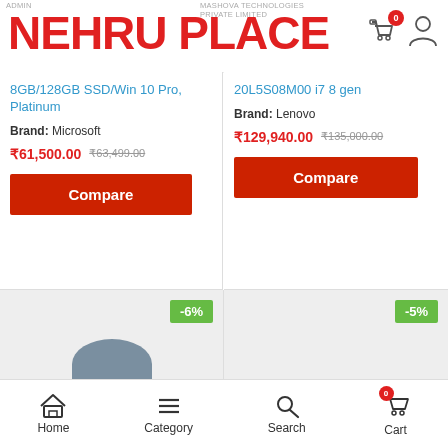ADMIN | MASHOVA TECHNOLOGIES PRIVATE LIMITED
NEHRU PLACE
8GB/128GB SSD/Win 10 Pro, Platinum
Brand: Microsoft
₹61,500.00  ₹63,499.00
20L5S08M00 i7 8 gen
Brand: Lenovo
₹129,940.00  ₹135,000.00
[Figure (screenshot): Product listing card with -6% badge and laptop thumbnail placeholder]
[Figure (screenshot): Product listing card with -5% badge and product thumbnail placeholder]
Home  Category  Search  Cart